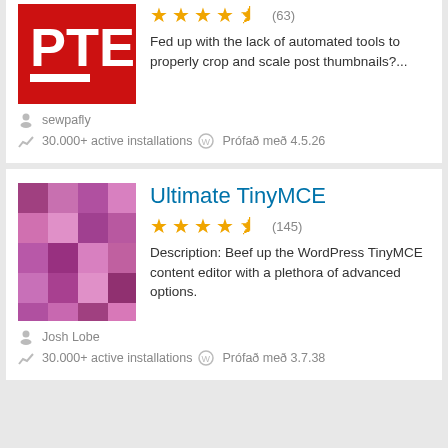[Figure (screenshot): Partial plugin card at top: red square logo with 'PTE' text, star rating 4.5 stars (63 reviews), description text 'Fed up with the lack of automated tools to properly crop and scale post thumbnails?...', author sewpafly, 30.000+ active installations, Prófað með 4.5.26]
[Figure (screenshot): Plugin card for 'Ultimate TinyMCE': purple pixelated logo, 4.5 star rating (145 reviews), description 'Beef up the WordPress TinyMCE content editor with a plethora of advanced options.', author Josh Lobe, 30.000+ active installations, Prófað með 3.7.38]